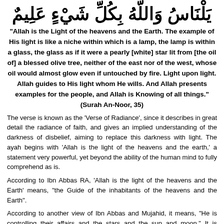يَلْنَاسُ وَاللَّهُ بِكُلِّ شَيْءٍ عَلِيمٌ
"Allah is the Light of the heavens and the Earth. The example of His light is like a niche within which is a lamp, the lamp is within a glass, the glass as if it were a pearly [white] star lit from [the oil of] a blessed olive tree, neither of the east nor of the west, whose oil would almost glow even if untouched by fire. Light upon light. Allah guides to His light whom He wills. And Allah presents examples for the people, and Allah is Knowing of all things." (Surah An‑Noor, 35)
The verse is known as the 'Verse of Radiance', since it describes in great detail the radiance of faith, and gives an implied understanding of the darkness of disbelief, aiming to replace this darkness with light. The ayah begins with 'Allah is the light of the heavens and the earth,' a statement very powerful, yet beyond the ability of the human mind to fully comprehend as is.
According to Ibn Abbas RA, 'Allah is the light of the heavens and the Earth' means, "the Guide of the inhabitants of the heavens and the Earth".
According to another view of Ibn Abbas and Mujahid, it means, "He is controlling their affairs and the stars and the sun and moon." It is recorded